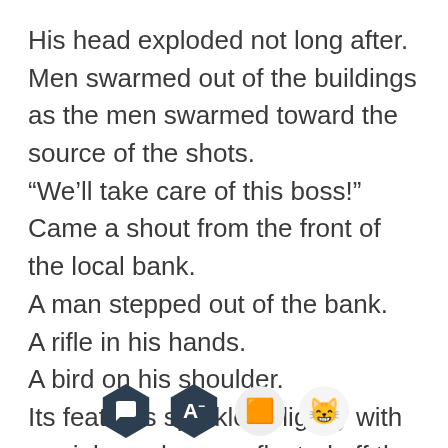His head exploded not long after.
Men swarmed out of the buildings as the men swarmed toward the source of the shots.
“We’ll take care of this boss!” Came a shout from the front of the local bank.
A man stepped out of the bank.
A rifle in his hands.
A bird on his shoulder.
Its feathers sparkled slightly with a rainbow sheen, reflected off the faint glow coming from beneath. The faint flicker of flames could be seen on the edges of its feathers and the end of its tail.
[Figure (other): App toolbar overlay at bottom of page with four icons: dark hexagon chat bubble icon, dark hexagon font size icon with A and minus superscript, light circle orange book icon, light circle happy face emoji icon]